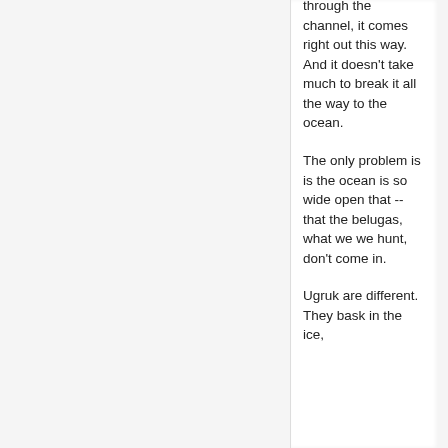through the channel, it comes right out this way. And it doesn't take much to break it all the way to the ocean.
The only problem is is the ocean is so wide open that -- that the belugas, what we we hunt, don't come in.
Ugruk are different. They bask in the ice,